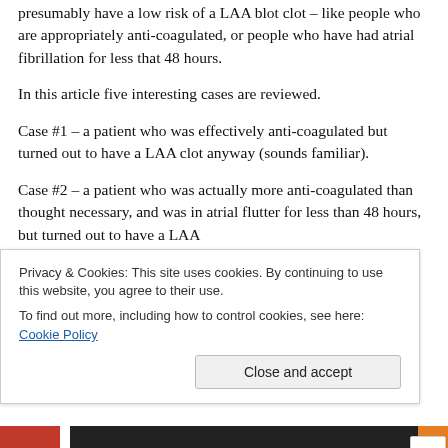presumably have a low risk of a LAA blot clot – like people who are appropriately anti-coagulated, or people who have had atrial fibrillation for less that 48 hours.
In this article five interesting cases are reviewed.
Case #1 – a patient who was effectively anti-coagulated but turned out to have a LAA clot anyway (sounds familiar).
Case #2 – a patient who was actually more anti-coagulated than thought necessary, and was in atrial flutter for less than 48 hours, but turned out to have a LAA
Privacy & Cookies: This site uses cookies. By continuing to use this website, you agree to their use.
To find out more, including how to control cookies, see here: Cookie Policy
Close and accept